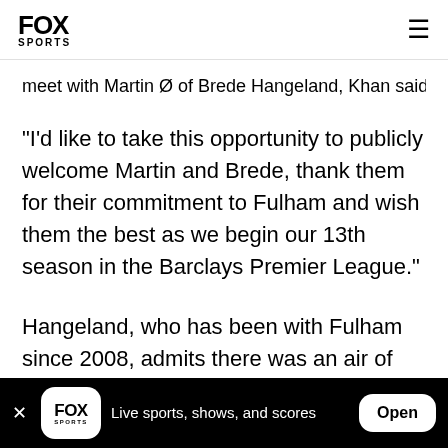FOX SPORTS
meet with Martin Ødegård and Brede Hangeland, Kħan said...
"I'd like to take this opportunity to publicly welcome Martin and Brede, thank them for their commitment to Fulham and wish them the best as we begin our 13th season in the Barclays Premier League."
Hangeland, who has been with Fulham since 2008, admits there was an air of excitement among the players as news of the takeover was revealed last
FOX SPORTS — Live sports, shows, and scores  Open